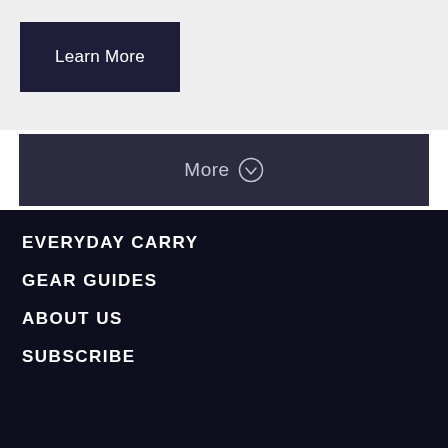Learn More
More ↓
EVERYDAY CARRY
GEAR GUIDES
ABOUT US
SUBSCRIBE
Most Popular
RIDES | STYLE | GEAR | TECH | VIDEOS